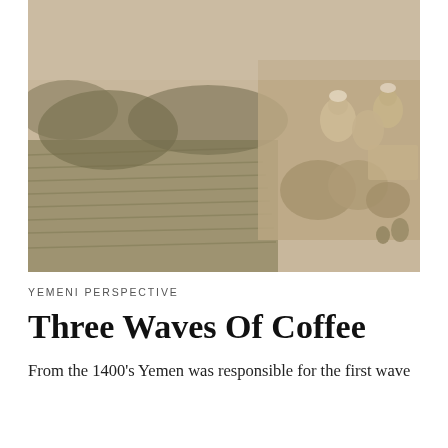[Figure (photo): Vintage sepia-toned aerial or elevated photograph of what appears to be a coffee farm or agricultural terraces in Yemen, with workers visible in the upper right portion of the image surrounded by baskets and equipment.]
YEMENI PERSPECTIVE
Three Waves Of Coffee
From the 1400's Yemen was responsible for the first wave